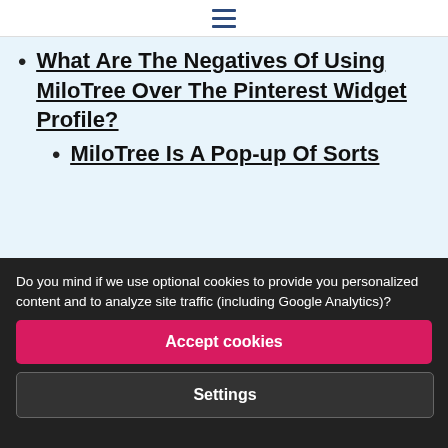☰ (hamburger menu icon)
What Are The Negatives Of Using MiloTree Over The Pinterest Widget Profile?
MiloTree Is A Pop-up Of Sorts
Do you mind if we use optional cookies to provide you personalized content and to analyze site traffic (including Google Analytics)?
Accept cookies
Settings